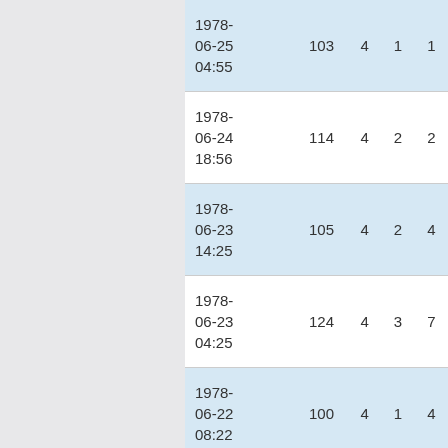| datetime | col1 | col2 | col3 | col4 |
| --- | --- | --- | --- | --- |
| 1978-06-25 04:55 | 103 | 4 | 1 | 1 |
| 1978-06-24 18:56 | 114 | 4 | 2 | 2 |
| 1978-06-23 14:25 | 105 | 4 | 2 | 4 |
| 1978-06-23 04:25 | 124 | 4 | 3 | 7 |
| 1978-06-22 08:22 | 100 | 4 | 1 | 4 |
| 1978-06-21 22:26 | 141 | 4 | 2 | 9 |